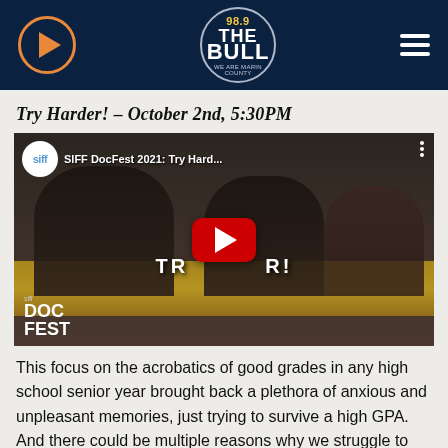98.9 The Bull radio station header with play button and hamburger menu
Try Harder! – October 2nd, 5:30PM
[Figure (screenshot): YouTube video embed thumbnail showing SIFF DocFest 2021: Try Hard... with students studying at desks in a classroom, featuring a large red YouTube play button in the center. Bottom left shows SIFF DOC FEST logo.]
This focus on the acrobatics of good grades in any high school senior year brought back a plethora of anxious and unpleasant memories, just trying to survive a high GPA. And there could be multiple reasons why we struggle to make those inroads in